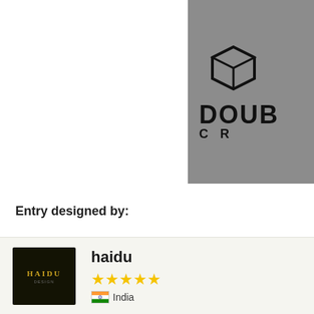[Figure (logo): Partial 'Double CR' logo on grey background with geometric cube icon]
Entry designed by:
[Figure (illustration): Designer profile card with dark thumbnail showing 'HAIDU' text in gold, username 'haidu', 5 star rating, India flag]
haidu
★★★★★
🇮🇳 India